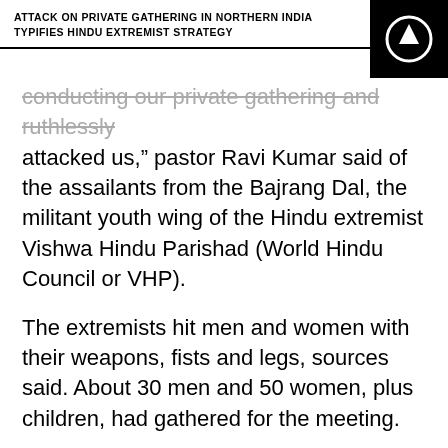ATTACK ON PRIVATE GATHERING IN NORTHERN INDIA TYPIFIES HINDU EXTREMIST STRATEGY
conducting our private gathering and ruthlessly attacked us,” pastor Ravi Kumar said of the assailants from the Bajrang Dal, the militant youth wing of the Hindu extremist Vishwa Hindu Parishad (World Hindu Council or VHP).
The extremists hit men and women with their weapons, fists and legs, sources said. About 30 men and 50 women, plus children, had gathered for the meeting.
“They were shouting ‘Jai Shri Ram’ [Hail, Lord Ram]!” while they hit us black-and-blue, and some men from the mob tore the clothes of the women and dragged them by their hair,” Pastor Kumar told Morning Star News.
As the extremists beat pastor Sam Jacob, the